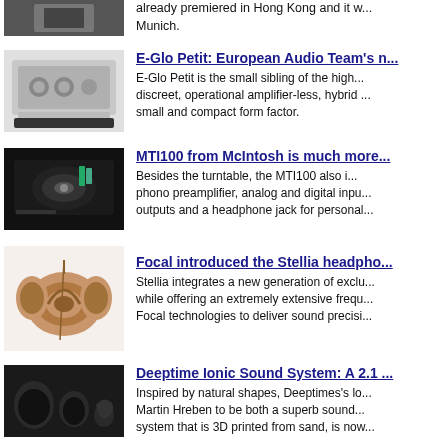[Figure (photo): Partial view of audio equipment at the top of the page]
already premiered in Hong Kong and it w... Munich.
[Figure (photo): E-Glo Petit audio device, silver/black tabletop unit]
E-Glo Petit: European Audio Team's n...
E-Glo Petit is the small sibling of the high... discreet, operational amplifier-less, hybrid ... small and compact form factor.
[Figure (photo): MTI100 from McIntosh, a turntable system on dark background]
MTI100 from McIntosh is much more...
Besides the turntable, the MTI100 also i... phono preamplifier, analog and digital inpu... outputs and a headphone jack for personal...
[Figure (photo): Focal Stellia headphones, rose-gold/brown over-ear]
Focal introduced the Stellia headpho...
Stellia integrates a new generation of exclu... while offering an extremely extensive frequ... Focal technologies to deliver sound precisi...
[Figure (photo): Deeptime Ionic Sound System speakers, organic dark shapes]
Deeptime Ionic Sound System: A 2.1 ...
Inspired by natural shapes, Deeptimes's lo... Martin Hreben to be both a superb sound... system that is 3D printed from sand, is now...